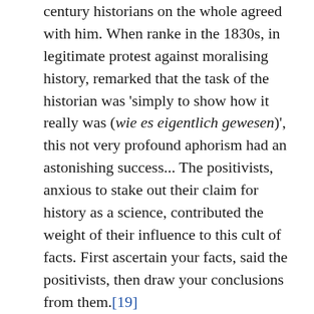century historians on the whole agreed with him. When ranke in the 1830s, in legitimate protest against moralising history, remarked that the task of the historian was 'simply to show how it really was (wie es eigentlich gewesen)', this not very profound aphorism had an astonishing success... The positivists, anxious to stake out their claim for history as a science, contributed the weight of their influence to this cult of facts. First ascertain your facts, said the positivists, then draw your conclusions from them.[19]
The positivists believed that the two tasks of the historian were to establish facts about the past and explain them. The conclusions about the past are objective because both the establishment of the